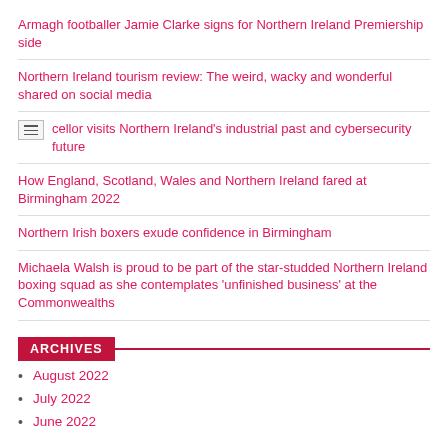Armagh footballer Jamie Clarke signs for Northern Ireland Premiership side
Northern Ireland tourism review: The weird, wacky and wonderful shared on social media
Chancellor visits Northern Ireland's industrial past and cybersecurity future
How England, Scotland, Wales and Northern Ireland fared at Birmingham 2022
Northern Irish boxers exude confidence in Birmingham
Michaela Walsh is proud to be part of the star-studded Northern Ireland boxing squad as she contemplates 'unfinished business' at the Commonwealths
ARCHIVES
August 2022
July 2022
June 2022